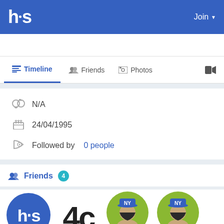hs  Join
Timeline   Friends   Photos   Video
N/A
24/04/1995
Followed by 0 people
Friends 4
[Figure (illustration): Four friend profile avatars: hs logo blue circle, 4c logo black, two NY hat avatar green circles]